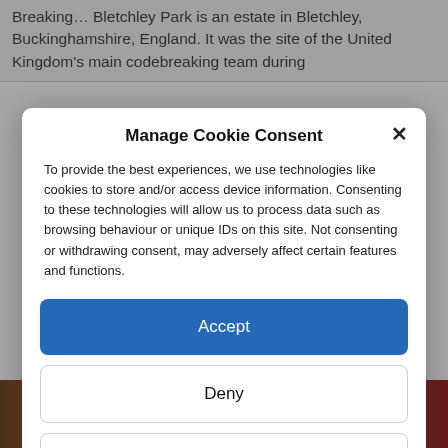Breaking… Bletchley Park is an estate in Bletchley, Buckinghamshire, England. It was the site of the United Kingdom's main codebreaking team during
Manage Cookie Consent
To provide the best experiences, we use technologies like cookies to store and/or access device information. Consenting to these technologies will allow us to process data such as browsing behaviour or unique IDs on this site. Not consenting or withdrawing consent, may adversely affect certain features and functions.
Accept
Deny
View preferences
Cookie Policy   Privacy & Cookie Policy, Terms of Use
[Figure (photo): Colorful image at bottom showing a figure with blue and red background]